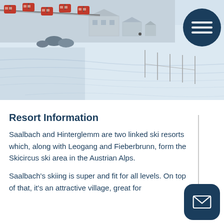[Figure (photo): Aerial view of a ski resort with red gondola ski lifts, snow-covered slopes, buildings at the top of the hill, and ski tracks in the snow.]
Resort Information
Saalbach and Hinterglemm are two linked ski resorts which, along with Leogang and Fieberbrunn, form the Skicircus ski area in the Austrian Alps.
Saalbach's skiing is super and fit for all levels. On top of that, it's an attractive village, great for